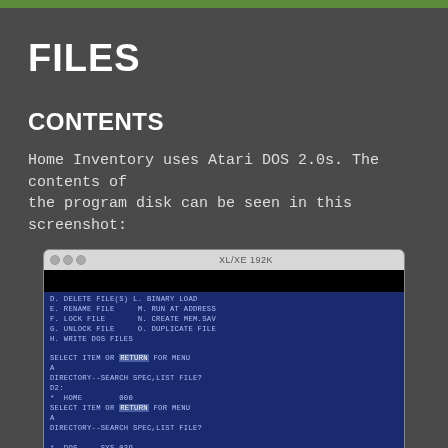FILES
CONTENTS
Home Inventory uses Atari DOS 2.0s.  The contents of the program disk can be seen in this screenshot:
[Figure (screenshot): Screenshot of Atari XL/XE 192K DOS 2.0s disk directory showing files: DOS SYS 039, AUTORUN SYS 086, LOGO 022, MAIN 072, DISKNAMEDAT 001, 567 FREE SECTORS, with menu prompts SELECT ITEM OR RETURN FOR MENU and DIRECTORY--SEARCH SPEC,LIST FILE?, directory listing for D2: showing HOME 000]